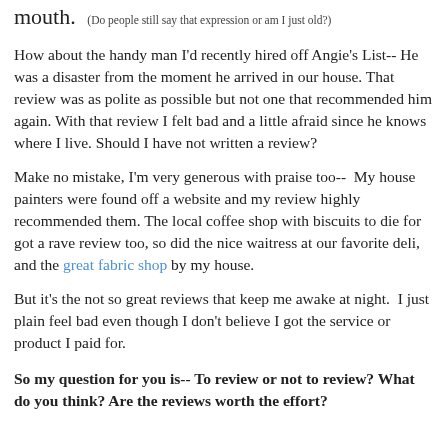mouth.  (Do people still say that expression or am I just old?)
How about the handy man I'd recently hired off Angie's List-- He was a disaster from the moment he arrived in our house.  That review was as polite as possible but not one that recommended him again.  With that review I felt bad and a little afraid since he knows where I live.  Should I have not written a review?
Make no mistake, I'm very generous with praise too--  My house painters were found off a website and my review highly recommended them.  The local coffee shop with biscuits to die for got a rave review too, so did the nice waitress at our favorite deli, and the great fabric shop by my house.
But it's the not so great reviews that keep me awake at night.  I just plain feel bad even though I don't believe I got the service or product I paid for.
So my question for you is-- To review or not to review?  What do you think?  Are the reviews worth the effort?